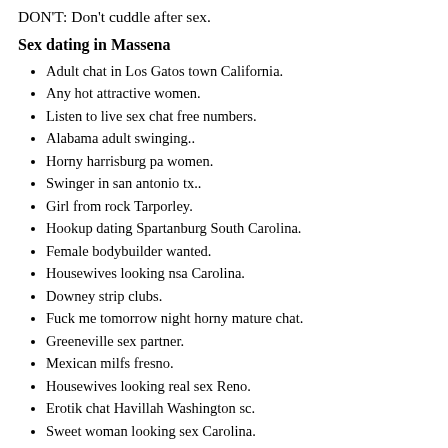DON'T: Don't cuddle after sex.
Sex dating in Massena
Adult chat in Los Gatos town California.
Any hot attractive women.
Listen to live sex chat free numbers.
Alabama adult swinging..
Horny harrisburg pa women.
Swinger in san antonio tx..
Girl from rock Tarporley.
Hookup dating Spartanburg South Carolina.
Female bodybuilder wanted.
Housewives looking nsa Carolina.
Downey strip clubs.
Fuck me tomorrow night horny mature chat.
Greeneville sex partner.
Mexican milfs fresno.
Housewives looking real sex Reno.
Erotik chat Havillah Washington sc.
Sweet woman looking sex Carolina.
Wives wants hot sex Onawa.
Sex seniors Susano.
Sex tonight jonesboro.